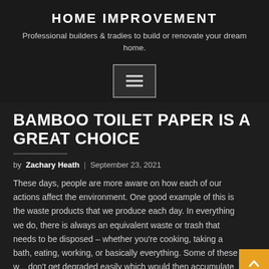HOME IMPROVEMENT
Professional builders & tradies to build or renovate your dream home.
[Figure (other): Hamburger menu button icon with three horizontal lines]
BAMBOO TOILET PAPER IS A GREAT CHOICE
by Zachary Heath | September 23, 2021
These days, people are more aware on how each of our actions affect the environment. One good example of this is the waste products that we produce each day. In everything we do, there is always an equivalent waste or trash that needs to be disposed – whether you're cooking, taking a bath, eating, working, or basically everything. Some of these w... don't get degraded easily which would then accumulate a... cause negative effects to the environment. Because of this...